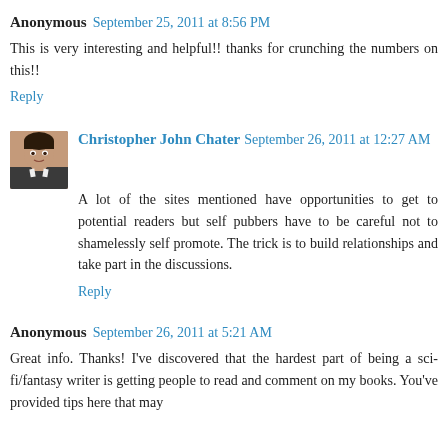Anonymous  September 25, 2011 at 8:56 PM
This is very interesting and helpful!! thanks for crunching the numbers on this!!
Reply
Christopher John Chater  September 26, 2011 at 12:27 AM
A lot of the sites mentioned have opportunities to get to potential readers but self pubbers have to be careful not to shamelessly self promote. The trick is to build relationships and take part in the discussions.
Reply
Anonymous  September 26, 2011 at 5:21 AM
Great info. Thanks! I've discovered that the hardest part of being a sci-fi/fantasy writer is getting people to read and comment on my books. You've provided tips here that may